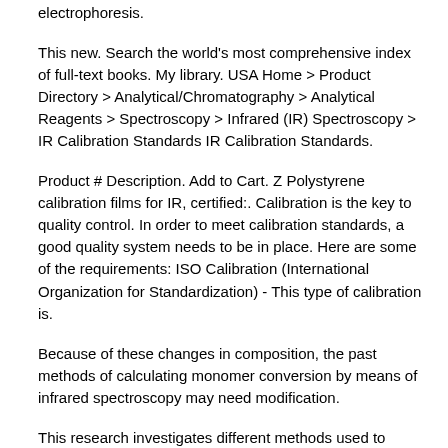electrophoresis.
This new. Search the world's most comprehensive index of full-text books. My library. USA Home > Product Directory > Analytical/Chromatography > Analytical Reagents > Spectroscopy > Infrared (IR) Spectroscopy > IR Calibration Standards IR Calibration Standards.
Product # Description. Add to Cart. Z Polystyrene calibration films for IR, certified:. Calibration is the key to quality control. In order to meet calibration standards, a good quality system needs to be in place. Here are some of the requirements: ISO Calibration (International Organization for Standardization) - This type of calibration is.
Because of these changes in composition, the past methods of calculating monomer conversion by means of infrared spectroscopy may need modification.
This research investigates different methods used to formulate calibration curves for determination of monomer conversion by infrared spectroscopy of contemporary commercial composites containing.